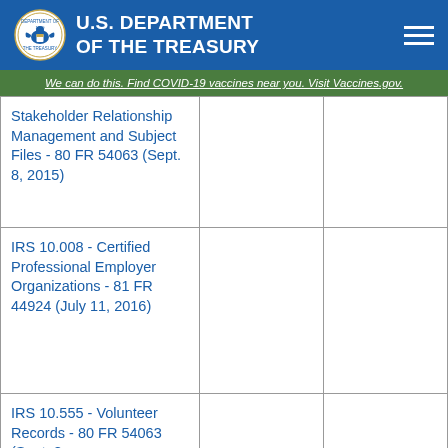U.S. DEPARTMENT OF THE TREASURY
We can do this. Find COVID-19 vaccines near you. Visit Vaccines.gov.
| Stakeholder Relationship Management and Subject Files - 80 FR 54063 (Sept. 8, 2015) |  |  |
| IRS 10.008 - Certified Professional Employer Organizations - 81 FR 44924 (July 11, 2016) |  |  |
| IRS 10.555 - Volunteer Records - 80 FR 54063 (Sept. 8, |  |  |